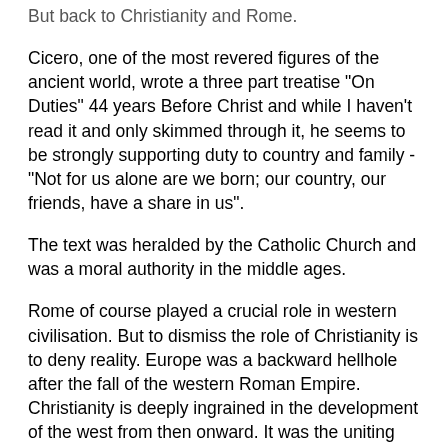But back to Christianity and Rome.
Cicero, one of the most revered figures of the ancient world, wrote a three part treatise "On Duties" 44 years Before Christ and while I haven't read it and only skimmed through it, he seems to be strongly supporting duty to country and family - "Not for us alone are we born; our country, our friends, have a share in us".
The text was heralded by the Catholic Church and was a moral authority in the middle ages.
Rome of course played a crucial role in western civilisation. But to dismiss the role of Christianity is to deny reality. Europe was a backward hellhole after the fall of the western Roman Empire. Christianity is deeply ingrained in the development of the west from then onward. It was the uniting force on the continent and established law and order. The cultural influence is huge. I've already written a lot so I won't expand on that unless you insist.
But the key take away is that duty is deeply ingrained in Christianity (the duty to have children for example) which is deeply ingrained in the development of western civilisation.